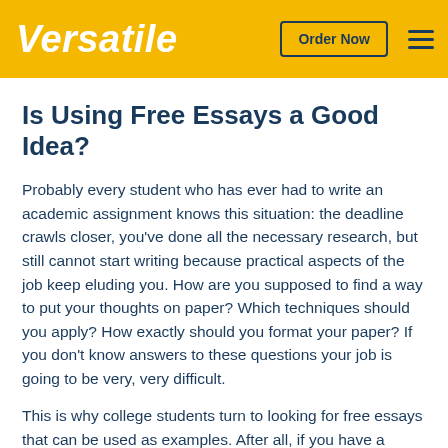Versatile | Order Now
Is Using Free Essays a Good Idea?
Probably every student who has ever had to write an academic assignment knows this situation: the deadline crawls closer, you've done all the necessary research, but still cannot start writing because practical aspects of the job keep eluding you. How are you supposed to find a way to put your thoughts on paper? Which techniques should you apply? How exactly should you format your paper? If you don't know answers to these questions your job is going to be very, very difficult.
This is why college students turn to looking for free essays that can be used as examples. After all, if you have a paper written by somebody skilled at this sort of thing in front of you, it is much easier to avoid beginner's mistakes. You no longer have to guess how you should structure your papers when you have a